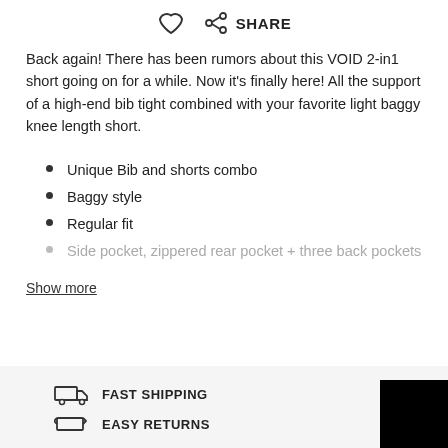[Figure (illustration): Heart (favorite) icon and share icon with SHARE label]
Back again! There has been rumors about this VOID 2-in1 short going on for a while. Now it's finally here! All the support of a high-end bib tight combined with your favorite light baggy knee length short.
Unique Bib and shorts combo
Baggy style
Regular fit
Side pocket, zippered rear pocket + three back pockets
Show more
FAST SHIPPING
EASY RETURNS